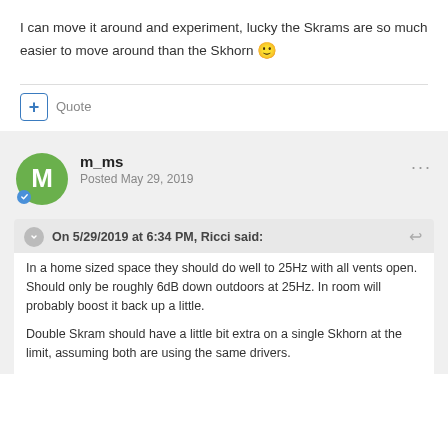I can move it around and experiment, lucky the Skrams are so much easier to move around than the Skhorn 🙂
Quote
m_ms
Posted May 29, 2019
On 5/29/2019 at 6:34 PM, Ricci said:
In a home sized space they should do well to 25Hz with all vents open. Should only be roughly 6dB down outdoors at 25Hz. In room will probably boost it back up a little.
Double Skram should have a little bit extra on a single Skhorn at the limit, assuming both are using the same drivers.